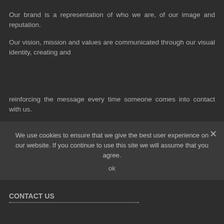Our brand is a representation of who we are, of our image and reputation.
Our vision, mission and values are communicated through our visual identity, creating and
reinforcing the message every time someone comes into contact with us.
Innovation, advanced technology and permanent improvement are the keys to our brand philosophy.
We work proactively as a team, learning from our mistakes, to create new rules that allow for a better future.
We use cookies to ensure that we give the best user experience on our website. If you continue to use this site we will assume that you agree.
ok
CONTACT US